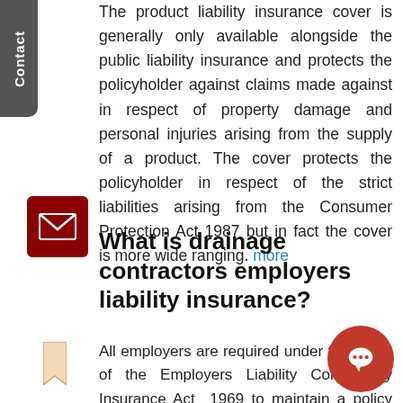The product liability insurance cover is generally only available alongside the public liability insurance and protects the policyholder against claims made against in respect of property damage and personal injuries arising from the supply of a product. The cover protects the policyholder in respect of the strict liabilities arising from the Consumer Protection Act 1987 but in fact the cover is more wide ranging. more
What is drainage contractors employers liability insurance?
All employers are required under the terms of the Employers Liability Compulsory Insurance Act 1969 to maintain a policy with a minimum limit of indemnity of £5M although in practice insurers issue policies with a minimum limit of £10M. The drainage contractors employers liability insurance policy protects the policyholder against claims made against them by